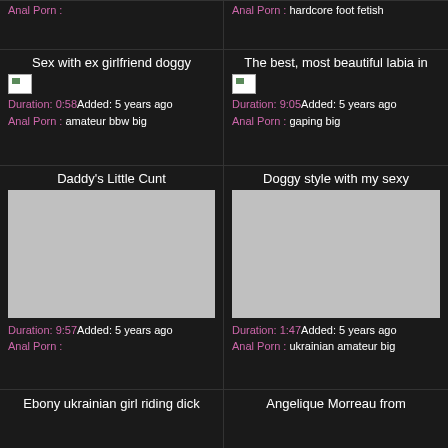Anal Porn :
Anal Porn : hardcore foot fetish
Sex with ex girlfriend doggy
The best, most beautiful labia in
[Figure (photo): Broken image thumbnail]
[Figure (photo): Broken image thumbnail]
Duration: 0:58Added: 5 years ago
Anal Porn : amateur bbw big
Duration: 9:05Added: 5 years ago
Anal Porn : gaping big
Daddy's Little Cunt
Doggy style with my sexy
[Figure (photo): Gray placeholder video thumbnail]
[Figure (photo): Gray placeholder video thumbnail]
Duration: 9:57Added: 5 years ago
Anal Porn :
Duration: 1:47Added: 5 years ago
Anal Porn : ukrainian amateur big
Ebony ukrainian girl riding dick
Angelique Morreau from